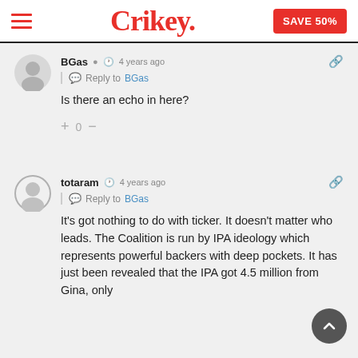Crikey. SAVE 50%
BGas  4 years ago
Reply to BGas
Is there an echo in here?
+ 0 −
totaram  4 years ago
Reply to BGas
It's got nothing to do with ticker. It doesn't matter who leads. The Coalition is run by IPA ideology which represents powerful backers with deep pockets. It has just been revealed that the IPA got 4.5 million from Gina, only